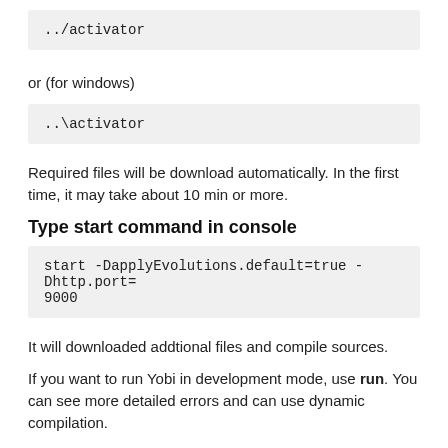../activator
or (for windows)
..\activator
Required files will be download automatically. In the first time, it may take about 10 min or more.
Type start command in console
start -DapplyEvolutions.default=true -Dhttp.port=9000
It will downloaded addtional files and compile sources.
If you want to run Yobi in development mode, use run. You can see more detailed errors and can use dynamic compilation.